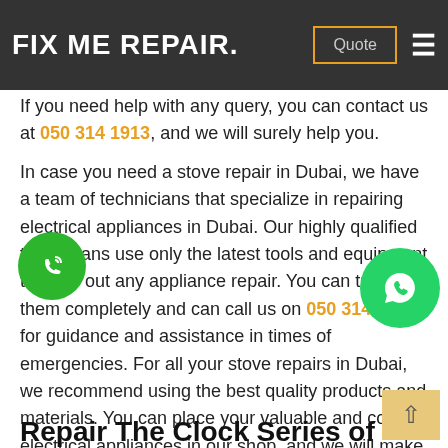FIX ME REPAIR. | Quote | ☰
appliances as we guarantee the quality of our work at reasonable rates. We customize our services to meet the specifications of our customers.
If you need help with any query, you can contact us at 050 314 1913, and we will surely help you.
In case you need a stove repair in Dubai, we have a team of technicians that specialize in repairing electrical appliances in Dubai. Our highly qualified technicians use only the latest tools and equipment to carry out any appliance repair. You can trust them completely and can call us on 050 314 1913 for guidance and assistance in times of emergencies. For all your stove repairs in Dubai, we recommend using the best quality products and materials. You can place your valuable and costly electrical appliances in our shop, and we will make sure they are in perfect working condition once more.
Repair The Clock Series of